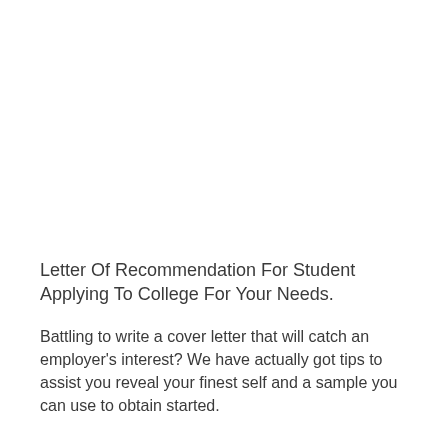Letter Of Recommendation For Student Applying To College For Your Needs.
Battling to write a cover letter that will catch an employer's interest? We have actually got tips to assist you reveal your finest self and a sample you can use to obtain started.